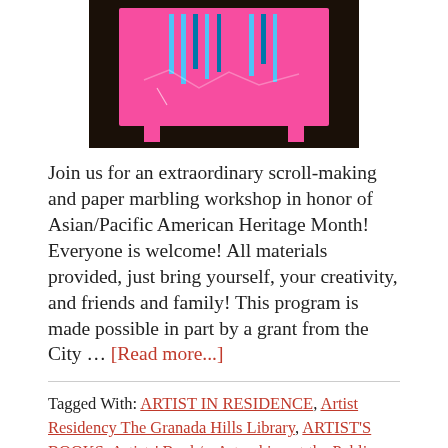[Figure (photo): Photo of a pink artistic structure or loom-like object with colorful vertical elements on a dark background, partially cropped at top.]
Join us for an extraordinary scroll-making and paper marbling workshop in honor of Asian/Pacific American Heritage Month! Everyone is welcome! All materials provided, just bring yourself, your creativity, and friends and family! This program is made possible in part by a grant from the City … [Read more...]
Tagged With: ARTIST IN RESIDENCE, Artist Residency The Granada Hills Library, ARTIST'S BOOKS, Artists' Book/s, Artmaking at the Public Library, Asian/Pacific Heritage Month, Bookmaking, Bookmaking at the Public Library, Books made by Hand, Community Artmaking, Department of Cultural Affairs of the City of Los Angeles, Granada Hills Library, Granada Hills Public